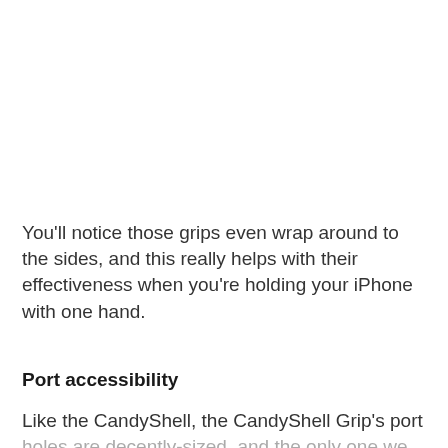You'll notice those grips even wrap around to the sides, and this really helps with their effectiveness when you're holding your iPhone with one hand.
Port accessibility
Like the CandyShell, the CandyShell Grip's port holes are decently-sized, and the only one we really had issues with was the 3.5mm